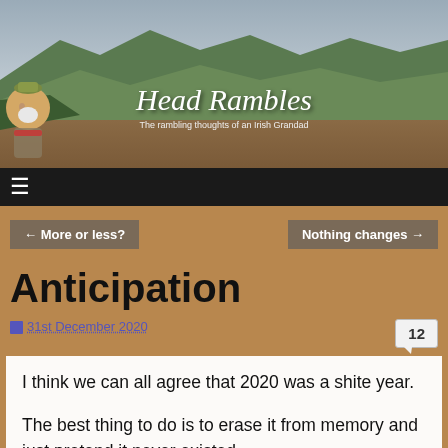[Figure (photo): Blog header banner showing green hills and mountains landscape with illustrated character on left side. Site title 'Head Rambles' and subtitle 'The rambling thoughts of an Irish Grandad' overlaid on the image.]
Head Rambles
The rambling thoughts of an Irish Grandad
← More or less?
Nothing changes →
Anticipation
31st December 2020
12
I think we can all agree that 2020 was a shite year.
The best thing to do is to erase it from memory and just pretend it never existed.
Let's look forward to 2021 and all the exciting